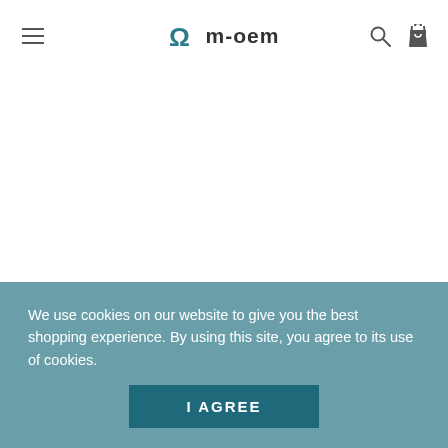m-oem
532 Raman Building Block
$18,500.00
We use cookies on our website to give you the best shopping experience. By using this site, you agree to its use of cookies.
I AGREE